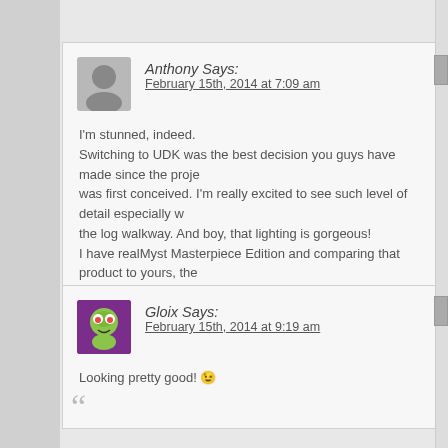Anthony Says: February 15th, 2014 at 7:09 am
I'm stunned, indeed.
Switching to UDK was the best decision you guys have made since the project was first conceived. I'm really excited to see such level of detail especially w the log walkway. And boy, that lighting is gorgeous!
I have realMyst Masterpiece Edition and comparing that product to yours, the just a lack of love and polish compared to this project

Speaking of compromising, I'm happy to see realRiven in its full glory if it m upgrading my computer. Pump up those polygons!
Gloix Says: February 15th, 2014 at 9:19 am
Looking pretty good! 😐